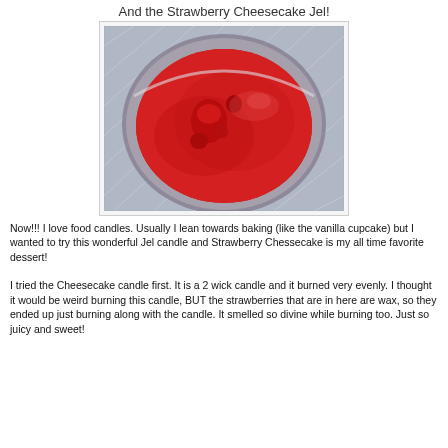And the Strawberry Cheesecake Jel!
[Figure (photo): A glass bowl or jar viewed from above, filled with red strawberry cheesecake jel candle wax with wax strawberry shapes on top, sitting on a textured grey carpet background.]
Now!!! I love food candles. Usually I lean towards baking (like the vanilla cupcake) but I wanted to try this wonderful Jel candle and Strawberry Chessecake is my all time favorite dessert!
I tried the Cheesecake candle first. It is a 2 wick candle and it burned very evenly. I thought it would be weird burning this candle, BUT the strawberries that are in here are wax, so they ended up just burning along with the candle. It smelled so divine while burning too. Just so juicy and sweet!